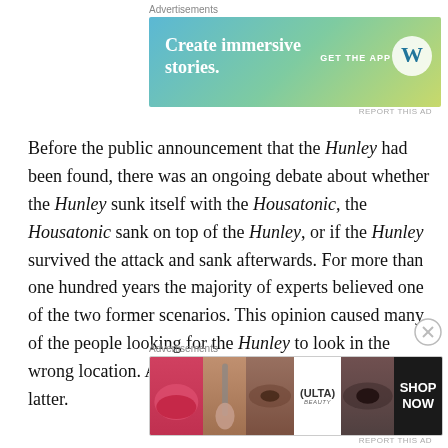[Figure (other): WordPress 'Create immersive stories. GET THE APP' advertisement banner with teal/green gradient background and WordPress logo]
Before the public announcement that the Hunley had been found, there was an ongoing debate about whether the Hunley sunk itself with the Housatonic, the Housatonic sank on top of the Hunley, or if the Hunley survived the attack and sank afterwards. For more than one hundred years the majority of experts believed one of the two former scenarios. This opinion caused many of the people looking for the Hunley to look in the wrong location. A small group of people believed the latter.
[Figure (other): Ulta Beauty advertisement banner showing makeup/cosmetics imagery with 'SHOP NOW' call to action]